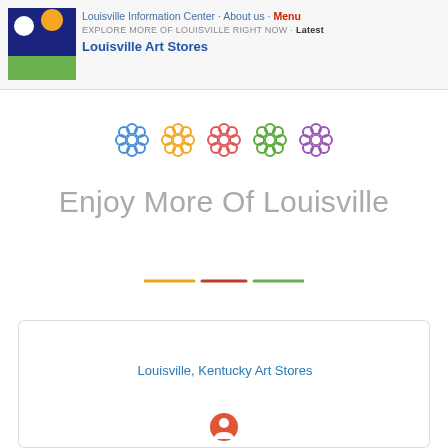Louisville Information Center · About us · Menu
EXPLORE MORE OF LOUISVILLE RIGHT NOW · Latest
Louisville Art Stores
[Figure (illustration): Five decorative flower icons in a row: blue, orange/yellow, red/pink, green, and purple]
Enjoy More Of Louisville
[Figure (illustration): Three short horizontal divider lines: orange, red, and green]
Louisville, Kentucky Art Stores